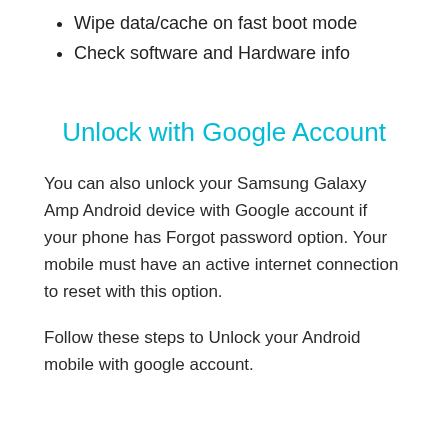Wipe data/cache on fast boot mode
Check software and Hardware info
Unlock with Google Account
You can also unlock your Samsung Galaxy Amp Android device with Google account if your phone has Forgot password option. Your mobile must have an active internet connection to reset with this option.
Follow these steps to Unlock your Android mobile with google account.